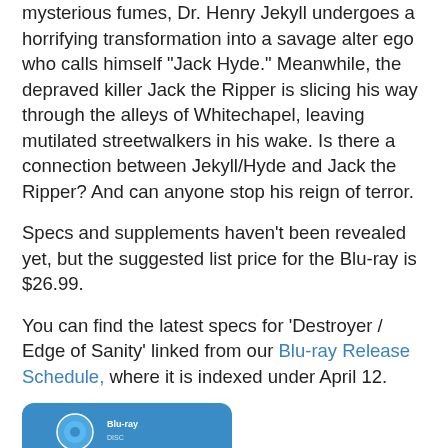mysterious fumes, Dr. Henry Jekyll undergoes a horrifying transformation into a savage alter ego who calls himself "Jack Hyde." Meanwhile, the depraved killer Jack the Ripper is slicing his way through the alleys of Whitechapel, leaving mutilated streetwalkers in his wake. Is there a connection between Jekyll/Hyde and Jack the Ripper? And can anyone stop his reign of terror.
Specs and supplements haven't been revealed yet, but the suggested list price for the Blu-ray is $26.99.
You can find the latest specs for 'Destroyer / Edge of Sanity' linked from our Blu-ray Release Schedule, where it is indexed under April 12.
[Figure (other): Blu-ray logo button/badge in blue at the bottom of the page]